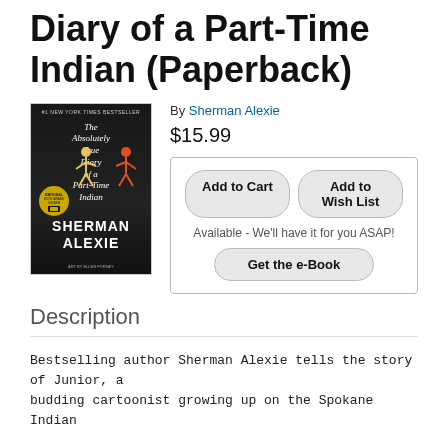The Absolutely True Diary of a Part-Time Indian (Paperback)
[Figure (illustration): Book cover of The Absolutely True Diary of a Part-Time Indian by Sherman Alexie, showing illustrated figures on a dark background with a gold medallion badge]
By Sherman Alexie
$15.99
Add to Cart
Add to Wish List
Available - We'll have it for you ASAP!
Get the e-Book
Description
Bestselling author Sherman Alexie tells the story of Junior, a budding cartoonist growing up on the Spokane Indian